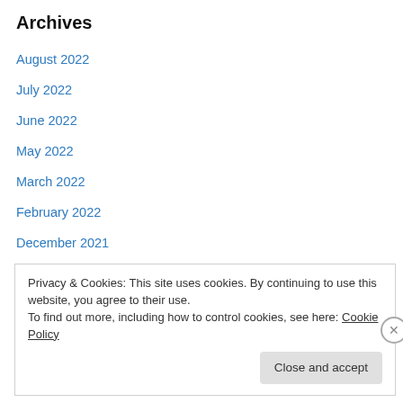Archives
August 2022
July 2022
June 2022
May 2022
March 2022
February 2022
December 2021
November 2021
October 2021
September 2021
August 2021
Privacy & Cookies: This site uses cookies. By continuing to use this website, you agree to their use.
To find out more, including how to control cookies, see here: Cookie Policy
Close and accept